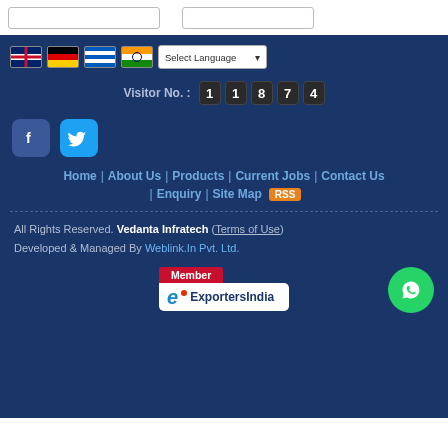[Figure (screenshot): Top bar with two bordered boxes (partial, cut off at top)]
Visitor No. : 1 1 8 7 4
Home | About Us | Products | Current Jobs | Contact Us | Enquiry | Site Map RSS
All Rights Reserved. Vedanta Infratech (Terms of Use) Developed & Managed By Weblink.In Pvt. Ltd.
Member ExportersIndia